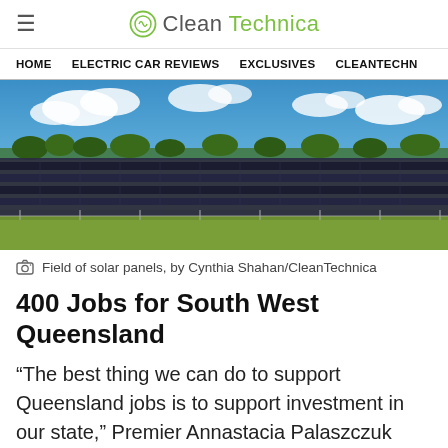CleanTechnica
HOME   ELECTRIC CAR REVIEWS   EXCLUSIVES   CLEANTECHN
[Figure (photo): Wide landscape photo of a large field of solar panels under a partly cloudy blue sky with green trees in the background]
Field of solar panels, by Cynthia Shahan/CleanTechnica
400 Jobs for South West Queensland
“The best thing we can do to support Queensland jobs is to support investment in our state,” Premier Annastacia Palaszczuk said. “Today we’re announcing support through CleanCo to unlock hundreds of jobs